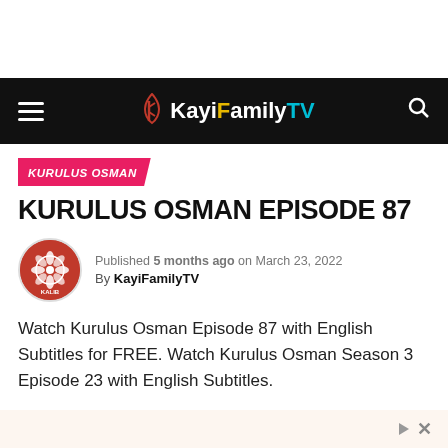KayiFamilyTV
KURULUS OSMAN
KURULUS OSMAN EPISODE 87
Published 5 months ago on March 23, 2022
By KayiFamilyTV
Watch Kurulus Osman Episode 87 with English Subtitles for FREE. Watch Kurulus Osman Season 3 Episode 23 with English Subtitles.